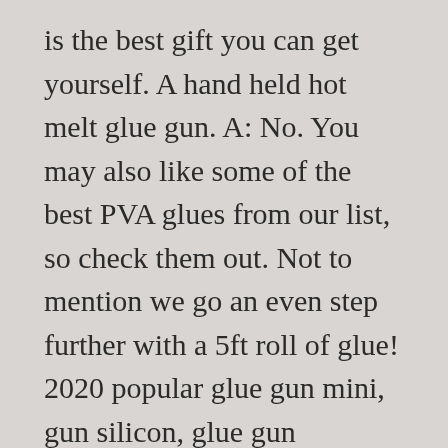is the best gift you can get yourself. A hand held hot melt glue gun. A: No. You may also like some of the best PVA glues from our list, so check them out. Not to mention we go an even step further with a 5ft roll of glue! 2020 popular glue gun mini, gun silicon, glue gun wireless, cordless glue gun trends in Tools, Glue Guns, Automobiles & Motorcycles, Hair Extensions & Wigs with 40w Hot Glue Gun and glue gun mini, gun silicon, glue gun wireless, cordless glue gun. Hot glue is preferred for heavy duty projects, but brings the risk of burning. In some cases (for example the Tec 820-12 and Tec 820-15), these glue guns have adjustable temperatures, from